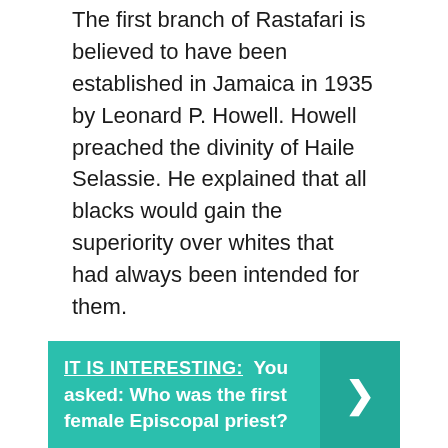The first branch of Rastafari is believed to have been established in Jamaica in 1935 by Leonard P. Howell. Howell preached the divinity of Haile Selassie. He explained that all blacks would gain the superiority over whites that had always been intended for them.
[Figure (infographic): Teal banner with bold white text reading 'IT IS INTERESTING: You asked: Who was the first female Episcopal priest?' with a right-arrow chevron on the right side in a darker teal box.]
Do Rastas drink alcohol?
Rastas are super healthy!
They consider their body to be a temple, based on the Old Testament teachings.